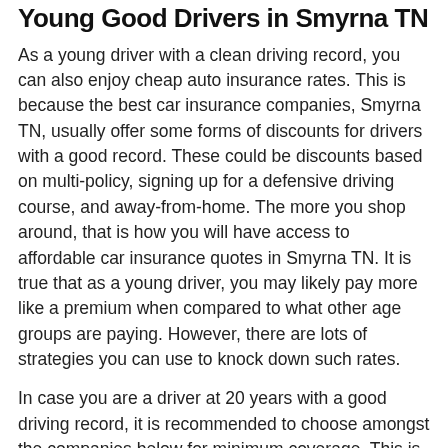Young Good Drivers in Smyrna TN
As a young driver with a clean driving record, you can also enjoy cheap auto insurance rates. This is because the best car insurance companies, Smyrna TN, usually offer some forms of discounts for drivers with a good record. These could be discounts based on multi-policy, signing up for a defensive driving course, and away-from-home. The more you shop around, that is how you will have access to affordable car insurance quotes in Smyrna TN. It is true that as a young driver, you may likely pay more like a premium when compared to what other age groups are paying. However, there are lots of strategies you can use to knock down such rates.
In case you are a driver at 20 years with a good driving record, it is recommended to choose amongst the companies below for minimum coverage. This is because their average rates are the most affordable.
| Company | Annual Payment |
| --- | --- |